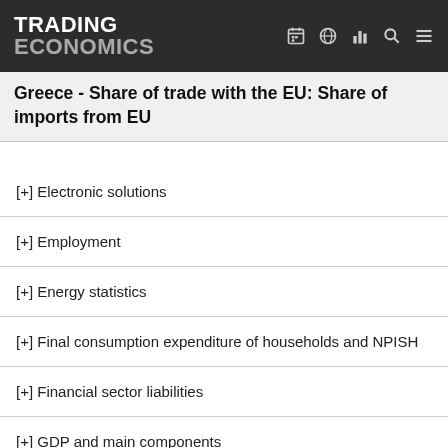TRADING ECONOMICS
Greece - Share of trade with the EU: Share of imports from EU
[+] Electronic solutions
[+] Employment
[+] Energy statistics
[+] Final consumption expenditure of households and NPISH
[+] Financial sector liabilities
[+] GDP and main components
[+] Health
[+] Housing statistics